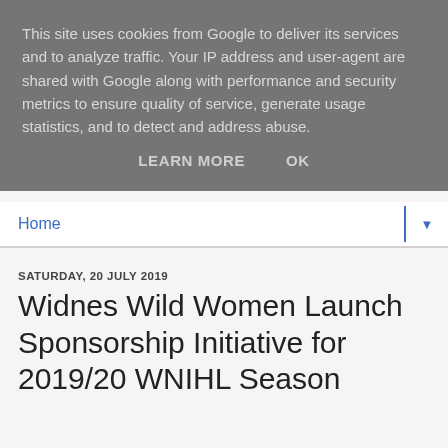This site uses cookies from Google to deliver its services and to analyze traffic. Your IP address and user-agent are shared with Google along with performance and security metrics to ensure quality of service, generate usage statistics, and to detect and address abuse.
LEARN MORE   OK
Home ▼
SATURDAY, 20 JULY 2019
Widnes Wild Women Launch Sponsorship Initiative for 2019/20 WNIHL Season